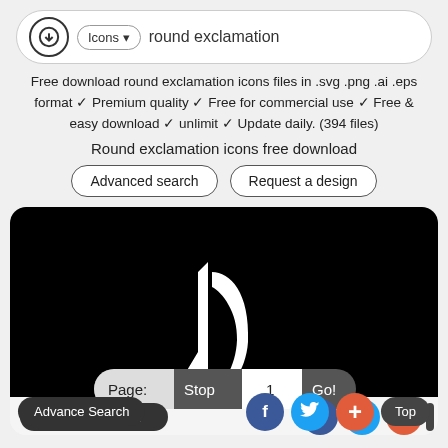Icons ▾  round exclamation
Free download round exclamation icons files in .svg .png .ai .eps format ✓ Premium quality ✓ Free for commercial use ✓ Free & easy download ✓ unlimit ✓ Update daily. (394 files)
Round exclamation icons free download
Advanced search
Request a design
[Figure (illustration): A large black semicircle/disc icon with a white quill/feather pen symbol in the center, representing an icon from the round exclamation icons set. Below it a pagination bar showing Page: Stop 1 Go! and a bottom bar with Advance Search, Facebook, Twitter, Plus, and Top buttons.]